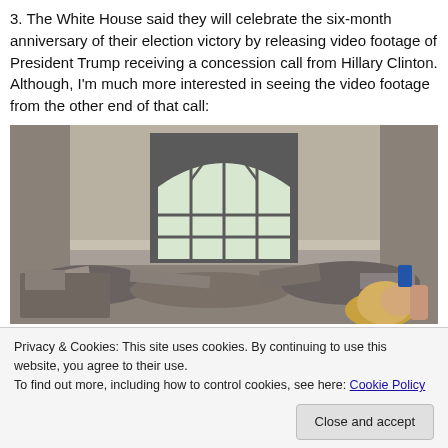3. The White House said they will celebrate the six-month anniversary of their election victory by releasing video footage of President Trump receiving a concession call from Hillary Clinton. Although, I'm much more interested in seeing the video footage from the other end of that call:
[Figure (photo): A dilapidated room with rubble and debris on the floor, a tall arched window in the background letting in light, and a person (woman with blonde hair) visible in the lower right peeking up from behind the debris.]
Privacy & Cookies: This site uses cookies. By continuing to use this website, you agree to their use.
To find out more, including how to control cookies, see here: Cookie Policy